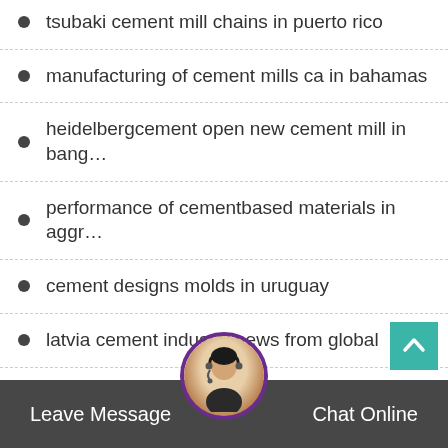tsubaki cement mill chains in puerto rico
manufacturing of cement mills ca in bahamas
heidelbergcement open new cement mill in bang…
performance of cementbased materials in aggr…
cement designs molds in uruguay
latvia cement industry news from global
cement mill wear tear area and solution
worldwide cement manufacturer worldwide cem…
Leave Message   Chat Online